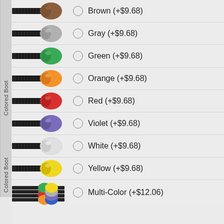Brown (+$9.68)
Gray (+$9.68)
Green (+$9.68)
Orange (+$9.68)
Red (+$9.68)
Violet (+$9.68)
White (+$9.68)
Yellow (+$9.68)
Multi-Color (+$12.06)